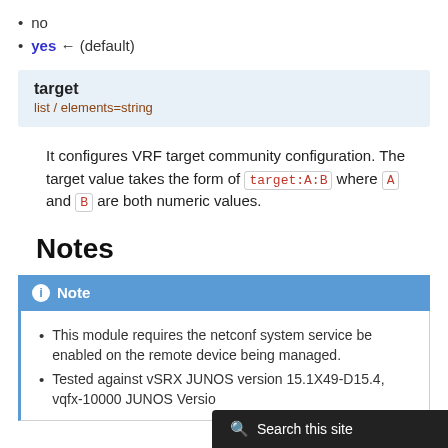no
yes ← (default)
target
list / elements=string
It configures VRF target community configuration. The target value takes the form of target:A:B where A and B are both numeric values.
Notes
Note
This module requires the netconf system service be enabled on the remote device being managed.
Tested against vSRX JUNOS version 15.1X49-D15.4, vqfx-10000 JUNOS Version ...